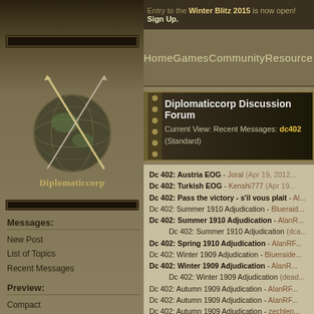Entry to the Winter Blitz 2015 is now open! Sign Up.
[Figure (logo): Diplomaticcorp website logo with crossed sword and pen over a globe, ornate decorative frame]
Home   Games   Community   Resources
Diplomaticcorp Discussion Forum
Current View: Recent Messages: dc402
(Standard)
Dc 402: Austria EOG - Joral (Apr 19, 2012...
Dc 402: Turkish EOG - Kenshi777 (Apr 19...
Dc 402: Pass the victory - s'il vous plait - Al...
Dc 402: Summer 1910 Adjudication - Blueraid...
Dc 402: Summer 1910 Adjudication - AlanRF...
Dc 402: Summer 1910 Adjudication (dc...
Dc 402: Spring 1910 Adjudication - AlanRF...
Dc 402: Winter 1909 Adjudication - Blueraide...
Dc 402: Winter 1909 Adjudication - AlanRF...
Dc 402: Winter 1909 Adjudication (dead...
Dc 402: Autumn 1909 Adjudication - AlanRF...
Dc 402: Autumn 1909 Adjudication - AlanRF...
Dc 402: Autumn 1909 Adjudication - zechlen...
Dc 402: Autumn 1909 Adjudication...
Messages:
New Post
List of Topics
Recent Messages
Preview:
Compact
Brief
Full
Replies: